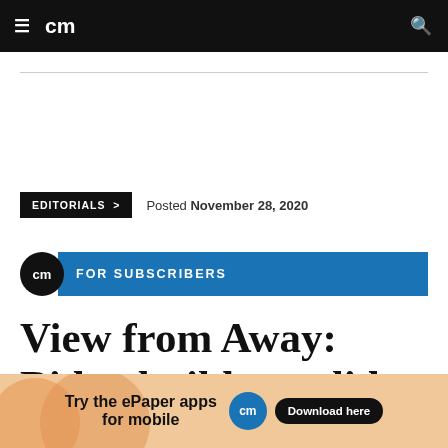cm
EDITORIALS > Posted November 28, 2020
cm FOR SUBSCRIBERS
View from Away: Biden builds a solid foreign policy team
[Figure (other): Advertisement banner: Try the ePaper apps for mobile — cm Download here]